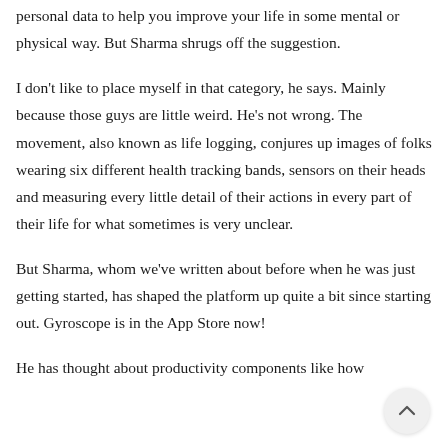personal data to help you improve your life in some mental or physical way. But Sharma shrugs off the suggestion.
I don't like to place myself in that category, he says. Mainly because those guys are little weird. He's not wrong. The movement, also known as life logging, conjures up images of folks wearing six different health tracking bands, sensors on their heads and measuring every little detail of their actions in every part of their life for what sometimes is very unclear.
But Sharma, whom we've written about before when he was just getting started, has shaped the platform up quite a bit since starting out. Gyroscope is in the App Store now!
He has thought about productivity components like how